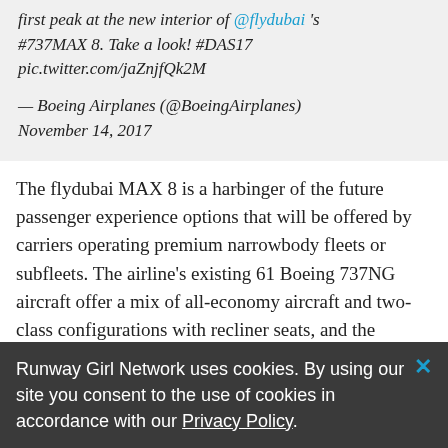A top attraction at the Dubai Airshow is the first peak at the new interior of @flydubai 's #737MAX 8. Take a look! #DAS17 pic.twitter.com/jaZnjfQk2M

— Boeing Airplanes (@BoeingAirplanes) November 14, 2017
The flydubai MAX 8 is a harbinger of the future passenger experience options that will be offered by carriers operating premium narrowbody fleets or subfleets. The airline's existing 61 Boeing 737NG aircraft offer a mix of all-economy aircraft and two-class configurations with recliner seats, and the addition of the longer-range MAX 8's upgraded passenger experience will change the state of play for flydubai — and its
Runway Girl Network uses cookies. By using our site you consent to the use of cookies in accordance with our Privacy Policy.